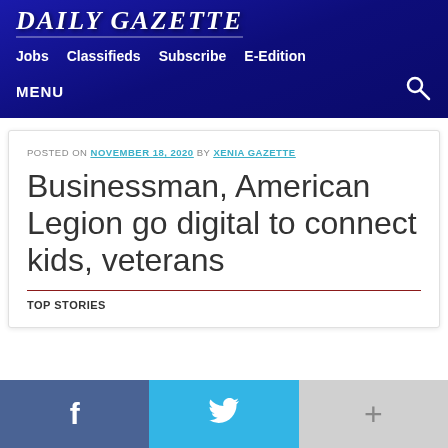DAILY GAZETTE
Jobs  Classifieds  Subscribe  E-Edition
MENU
POSTED ON NOVEMBER 18, 2020 BY XENIA GAZETTE
Businessman, American Legion go digital to connect kids, veterans
TOP STORIES